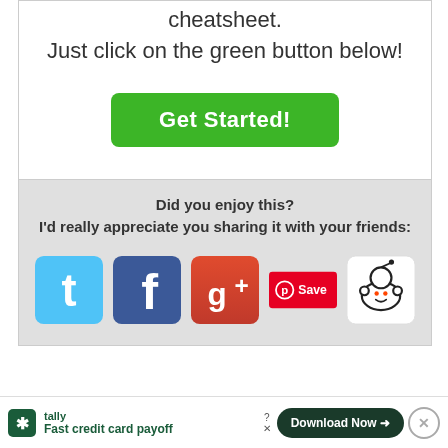cheatsheet.
Just click on the green button below!
[Figure (other): Green 'Get Started!' button]
Did you enjoy this?
I'd really appreciate you sharing it with your friends:
[Figure (other): Social sharing icons: Twitter, Facebook, Google+, Pinterest Save, Reddit]
[Figure (other): Tally advertisement bar: Fast credit card payoff, Download Now button, close button]